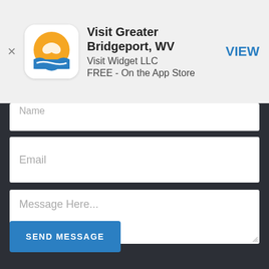[Figure (screenshot): App Store smart banner showing Visit Greater Bridgeport WV app by Visit Widget LLC, free on the App Store, with a VIEW button and app icon (orange/teal circular logo)]
Name
Email
Message Here...
SEND MESSAGE